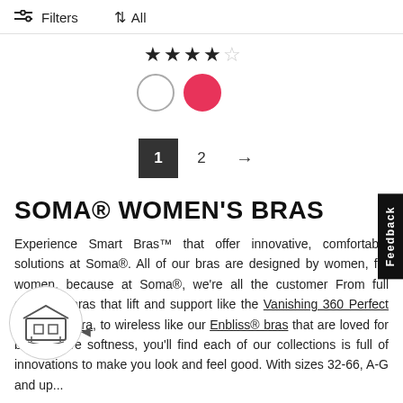Filters  ↑↓ All
[Figure (other): 4 out of 5 star rating display with filled and empty stars]
[Figure (other): Two color swatches: white circle and pink/red circle]
[Figure (other): Pagination control showing page 1 active, page 2, and next arrow]
SOMA® WOMEN'S BRAS
Experience Smart Bras™ that offer innovative, comfortable solutions at Soma®. All of our bras are designed by women, for women, because at Soma®, we're all the customer From full coverage bras that lift and support like the Vanishing 360 Perfect Coverage Bra, to wireless like our Enbliss® bras that are loved for barely-there softness, you'll find each of our collections is full of innovations to make you look and feel good. With sizes 32-66, A-G and up...